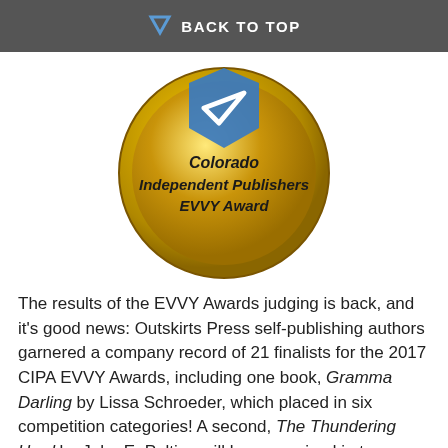BACK TO TOP
[Figure (illustration): Colorado Independent Publishers EVVY Award gold medal badge with a blue checkmark/ribbon symbol]
The results of the EVVY Awards judging is back, and it's good news: Outskirts Press self-publishing authors garnered a company record of 21 finalists for the 2017 CIPA EVVY Awards, including one book, Gramma Darling by Lissa Schroeder, which placed in six competition categories! A second, The Thundering Herd by John E. Peltier, will be recognized in two.
Now in their 23rd year, the CIPA EVVY Awards are sponsored by the Colorado Independent Publishers Association (CIPA) and the CIPA Education and Literacy Foundation (ELF), and recognizes the works of independent authors in dozens of book categories. Outskirts Press hand-selects only the highest quality books for nomination each